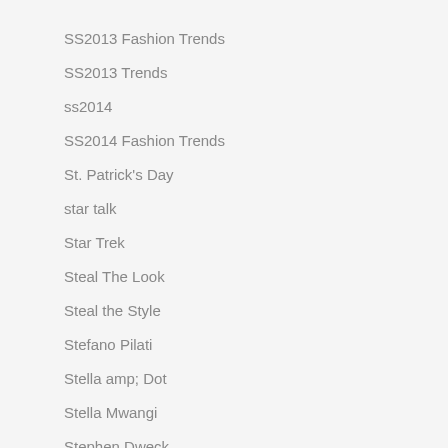SS2013 Fashion Trends
SS2013 Trends
ss2014
SS2014 Fashion Trends
St. Patrick's Day
star talk
Star Trek
Steal The Look
Steal the Style
Stefano Pilati
Stella amp; Dot
Stella Mwangi
Stephen Dweck
Steven Meisel
stevia